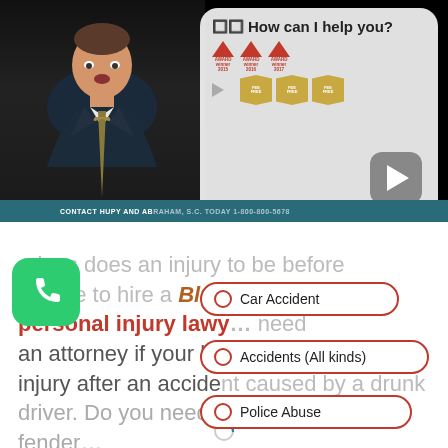[Figure (screenshot): Screenshot of a legal website for Hupy and Abraham law firm. Left side shows video of a man in a suit. Right side shows a chat bubble with 'How can I help you?' heading, award badges, and a play button. Bottom shows contact bar text.]
CONTACT HUPY AND ABRAHAM, S.C. TODAY 1-800-800-5678
erious does an injury to be before thwhile to hire a Bloomington personal injury lawy... need an attorney if your lo... rs a brain injury after an accident caused by a drunk driver. Do you need an attorney for a fender...
Car Accident
Accidents (All kinds)
Police Abuse